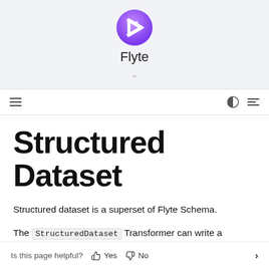[Figure (logo): Flyte logo: purple circle with white geometric arrow/triangle icon, with text 'Flyte' below and a chevron/dropdown indicator]
≡  (navigation bar with hamburger menu, theme toggle, and lines icon)
Structured Dataset
Structured dataset is a superset of Flyte Schema.
The StructuredDataset Transformer can write a dataframe new struct
Is this page helpful?  👍 Yes  👎 No  >